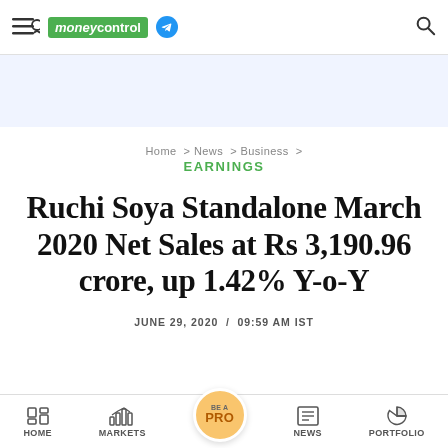moneycontrol
Home > News > Business >
EARNINGS
Ruchi Soya Standalone March 2020 Net Sales at Rs 3,190.96 crore, up 1.42% Y-o-Y
JUNE 29, 2020 / 09:59 AM IST
HOME  MARKETS  BE A PRO  NEWS  PORTFOLIO